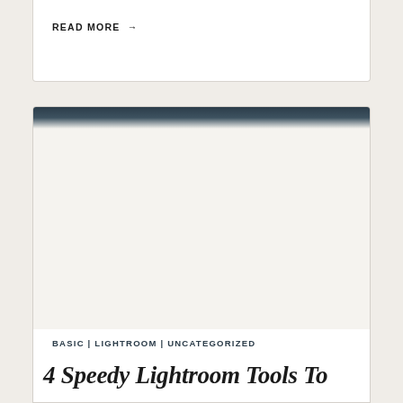READ MORE →
[Figure (photo): Blank/placeholder image area with a dark teal gradient at the top, representing an article thumbnail for a blog post about Lightroom tools]
BASIC | LIGHTROOM | UNCATEGORIZED
4 Speedy Lightroom Tools To